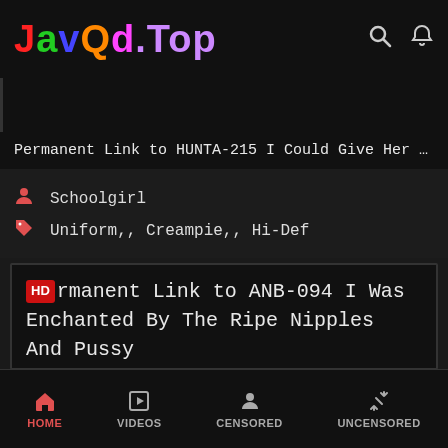JavQd.Top
Permanent Link to HUNTA-215 I Could Give Her A Real C...
Schoolgirl
Uniform,, Creampie,, Hi-Def
Permanent Link to ANB-094 I Was Enchanted By The Ripe Nipples And Pussy Of My Beautiful and Erotic Aunt
HOME  VIDEOS  CENSORED  UNCENSORED